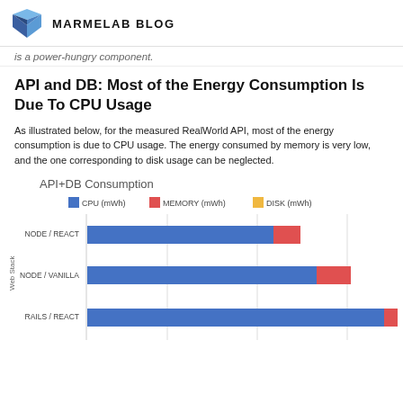MARMELAB BLOG
is a power-hungry component.
API and DB: Most of the Energy Consumption Is Due To CPU Usage
As illustrated below, for the measured RealWorld API, most of the energy consumption is due to CPU usage. The energy consumed by memory is very low, and the one corresponding to disk usage can be neglected.
[Figure (grouped-bar-chart): API+DB Consumption]